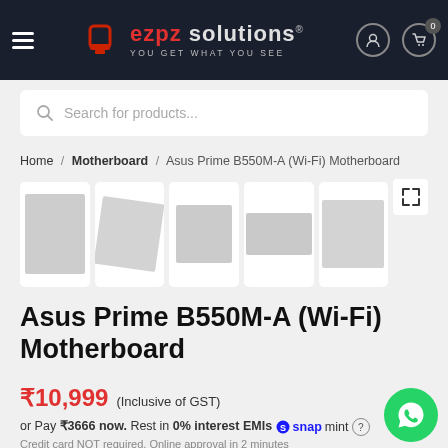ezpz solutions® — You Get What You See
Search for products...
Home / Motherboard / Asus Prime B550M-A (Wi-Fi) Motherboard
[Figure (screenshot): Five product thumbnail images of the Asus Prime B550M-A Wi-Fi Motherboard and an expand icon]
Asus Prime B550M-A (Wi-Fi) Motherboard
₹10,999 (Inclusive of GST)
or Pay ₹3666 now. Rest in 0% interest EMIs [snapmint logo] (?)
Credit card NOT required. Online approval in 2 minutes